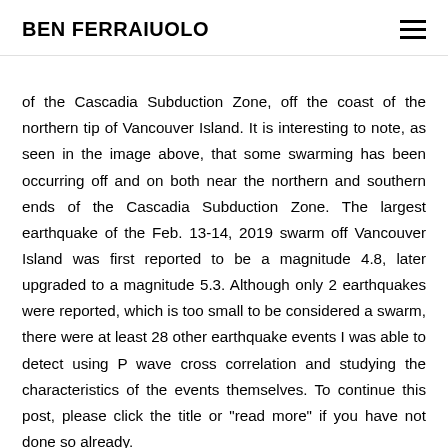BEN FERRAIUOLO
of the Cascadia Subduction Zone, off the coast of the northern tip of Vancouver Island. It is interesting to note, as seen in the image above, that some swarming has been occurring off and on both near the northern and southern ends of the Cascadia Subduction Zone. The largest earthquake of the Feb. 13-14, 2019 swarm off Vancouver Island was first reported to be a magnitude 4.8, later upgraded to a magnitude 5.3. Although only 2 earthquakes were reported, which is too small to be considered a swarm, there were at least 28 other earthquake events I was able to detect using P wave cross correlation and studying the characteristics of the events themselves. To continue this post, please click the title or "read more" if you have not done so already.